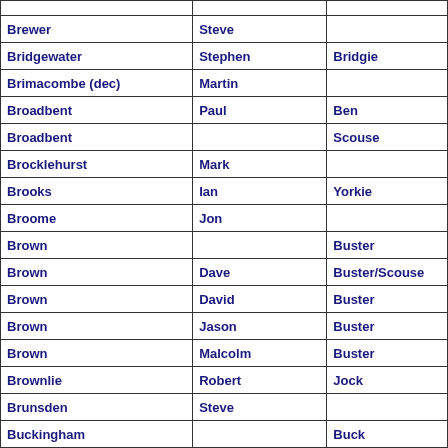| Surname | First Name | Nickname |
| --- | --- | --- |
| Brewer | Steve |  |
| Bridgewater | Stephen | Bridgie |
| Brimacombe (dec) | Martin |  |
| Broadbent | Paul | Ben |
| Broadbent |  | Scouse |
| Brocklehurst | Mark |  |
| Brooks | Ian | Yorkie |
| Broome | Jon |  |
| Brown |  | Buster |
| Brown | Dave | Buster/Scouse |
| Brown | David | Buster |
| Brown | Jason | Buster |
| Brown | Malcolm | Buster |
| Brownlie | Robert | Jock |
| Brunsden | Steve |  |
| Buckingham |  | Buck |
| Buckley | Steve |  |
| Bucknell | Alan |  |
| Bunker | Dave | Wingnut |
| Bunney | Peter | Bugsy |